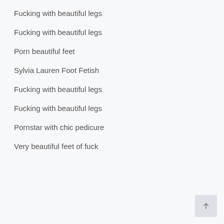Fucking with beautiful legs
Fucking with beautiful legs
Porn beautiful feet
Sylvia Lauren Foot Fetish
Fucking with beautiful legs
Fucking with beautiful legs
Pornstar with chic pedicure
Very beautiful feet of fuck